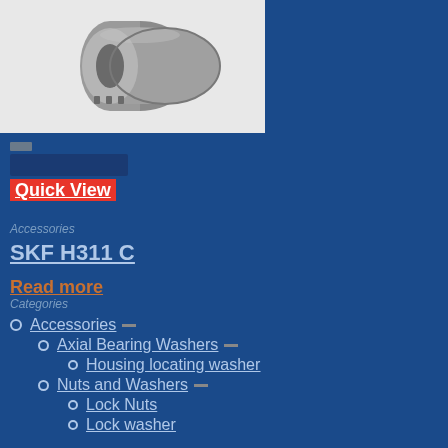[Figure (photo): SKF H311 C adapter sleeve / bearing component, gray metallic, shown from a 3/4 angle against white background]
Quick View
Accessories
SKF H311 C
Read more
Categories
Accessories
Axial Bearing Washers
Housing locating washer
Nuts and Washers
Lock Nuts
Lock washer